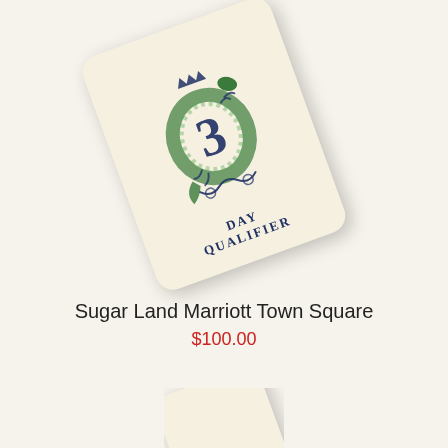[Figure (photo): A white ceramic or polymer tile with rounded corners, rotated about -20 degrees. The tile features a green dragon curled in a circle around a large numeral '3' in dark blue. Below the dragon are decorative scroll elements and the text 'DAY QUALIFIER' in dark blue uppercase letters. The tile appears to be a tournament badge or qualifier token.]
Sugar Land Marriott Town Square
$100.00
[Figure (photo): Partial view of a second similar white tile, also rotated, partially cropped at the bottom of the page. Only the top portion is visible.]